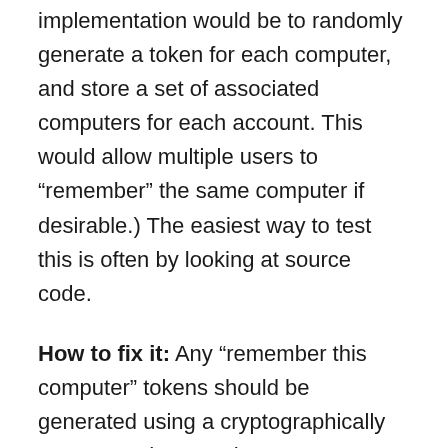implementation would be to randomly generate a token for each computer, and store a set of associated computers for each account. This would allow multiple users to “remember” the same computer if desirable.) The easiest way to test this is often by looking at source code.
How to fix it: Any “remember this computer” tokens should be generated using a cryptographically secure random number generator, and should probably be treated as long-lived secrets. 128 bits of entropy should be a decent minimum.
Can you revoke remembered computers?
What? If a user has accidentally or the...